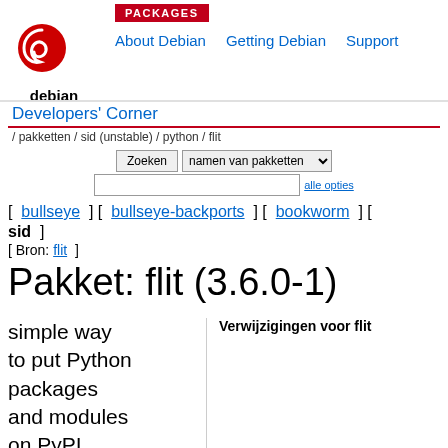PACKAGES
About Debian   Getting Debian   Support
[Figure (logo): Debian swirl logo with 'debian' text below]
Developers' Corner
/ pakketten / sid (unstable) / python / flit
[ bullseye ] [ bullseye-backports ] [ bookworm ] [ sid ] [ Bron: flit ]
Pakket: flit (3.6.0-1)
simple way to put Python packages and modules on PyPI
Verwijzigingen voor flit